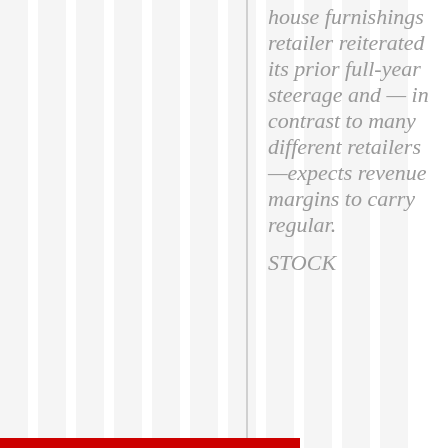house furnishings retailer reiterated its prior full-year steerage and — in contrast to many different retailers —expects revenue margins to carry regular.
STOCK